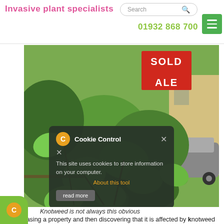Invasive plant specialists | Search | 01932 868 700
[Figure (photo): Photo of Japanese knotweed growing densely near a property, with a red SOLD sign visible in the background and a parked grey car. A cookie control popup overlay is visible in the lower-left portion of the image.]
Knotweed is not always this obvious
Purchasing a property and then discovering that it is affected by knotweed can cost a house purchaser thousands, both in relation to the treatment of the knotweed and the impact it can